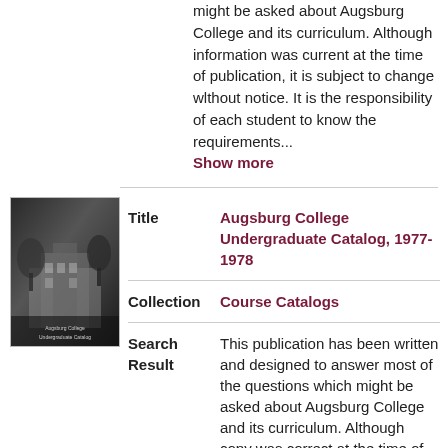might be asked about Augsburg College and its curriculum. Although information was current at the time of publication, it is subject to change without notice. It is the responsibility of each student to know the requirements...
Show more
[Figure (photo): Black and white thumbnail image of Augsburg College campus building with trees]
| Field | Value |
| --- | --- |
| Title | Augsburg College Undergraduate Catalog, 1977-1978 |
| Collection | Course Catalogs |
| Search Result | This publication has been written and designed to answer most of the questions which might be asked about Augsburg College and its curriculum. Although copy was correct at the time of publication, information contained herein is subject to change without notice. |